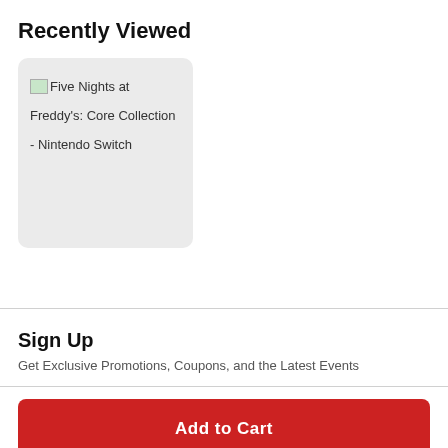Recently Viewed
[Figure (other): Product card with broken image placeholder showing 'Five Nights at Freddy's: Core Collection - Nintendo Switch']
Sign Up
Get Exclusive Promotions, Coupons, and the Latest Events
Add to Cart